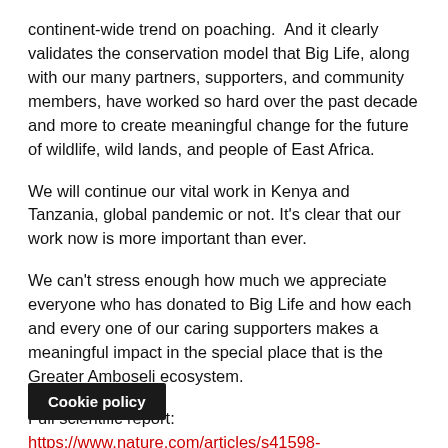continent-wide trend on poaching.  And it clearly validates the conservation model that Big Life, along with our many partners, supporters, and community members, have worked so hard over the past decade and more to create meaningful change for the future of wildlife, wild lands, and people of East Africa.
We will continue our vital work in Kenya and Tanzania, global pandemic or not. It's clear that our work now is more important than ever.
We can't stress enough how much we appreciate everyone who has donated to Big Life and how each and every one of our caring supporters makes a meaningful impact in the special place that is the Greater Amboseli ecosystem.
Full scientific report: https://www.nature.com/articles/s41598-020-6...